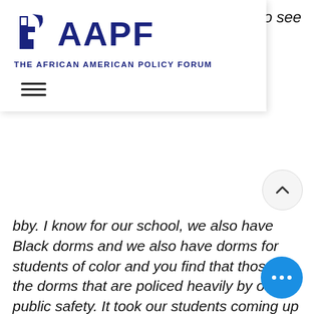[Figure (screenshot): AAPF (African American Policy Forum) website screenshot showing logo with stylized figure icon and text AAPF, tagline THE AFRICAN AMERICAN POLICY FORUM, hamburger menu icon, and partial italic body text about campus policing and Black Lives Matter]
...to see
bby. I know for our school, we also have Black dorms and we also have dorms for students of color and you find that those are the dorms that are policed heavily by our public safety. It took our students coming up with a bill of rights and actually having to sit down with the head of public safety in order to change the dynamic. I mean, that's not a student's job. That's administration job, especially when administration is saying they're in support of Black Lives Matter. You can't just say it. You actually have to own up to